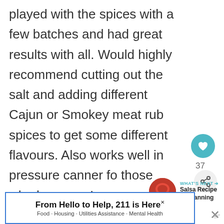played with the spices with a few batches and had great results with all. Would highly recommend cutting out the salt and adding different Cajun or Smokey meat rub spices to get some different flavours. Also works well in pressure canner for those who have one!
Reply
[Figure (other): Advertisement banner: From Hello to Help, 211 is Here. Food · Housing · Utilities Assistance · Mental Health]